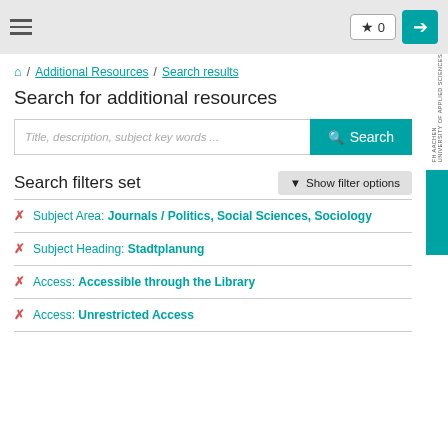★ 0 | login
⌂ / Additional Resources / Search results
Search for additional resources
Title, description, subject key words ... [Search]
Search filters set
Subject Area: Journals / Politics, Social Sciences, Sociology
Subject Heading: Stadtplanung
Access: Accessible through the Library
Access: Unrestricted Access